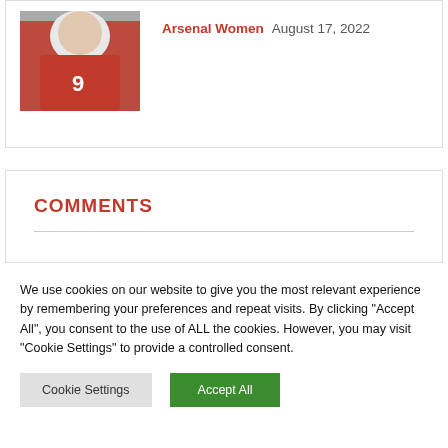[Figure (photo): Cropped photo of a football player wearing a red jersey with number 9]
Arsenal Women  August 17, 2022
COMMENTS
We use cookies on our website to give you the most relevant experience by remembering your preferences and repeat visits. By clicking "Accept All", you consent to the use of ALL the cookies. However, you may visit "Cookie Settings" to provide a controlled consent.